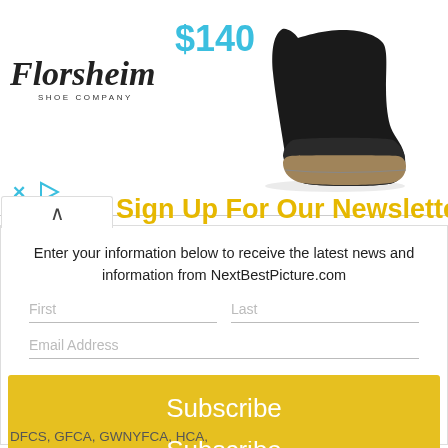[Figure (photo): Florsheim Shoe Company advertisement banner showing a black leather boot and price $140]
Sign Up For Our Newsletter
Enter your information below to receive the latest news and information from NextBestPicture.com
[Figure (screenshot): Newsletter signup form with First, Last, and Email Address fields and a Subscribe button]
DFCS, GFCA, GWNYFCA, HCA,